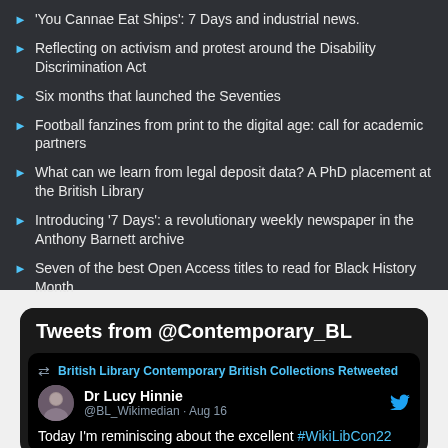'You Cannae Eat Ships': 7 Days and industrial news.
Reflecting on activism and protest around the Disability Discrimination Act
Six months that launched the Seventies
Football fanzines from print to the digital age: call for academic partners
What can we learn from legal deposit data? A PhD placement at the British Library
Introducing '7 Days': a revolutionary weekly newspaper in the Anthony Barnett archive
Seven of the best Open Access titles to read for Black History Month
Tweets from @Contemporary_BL
British Library Contemporary British Collections Retweeted
Dr Lucy Hinnie @BL_Wikimedian · Aug 16
Today I'm reminiscing about the excellent #WikiLibCon22 over on the @BL_DigiSchol